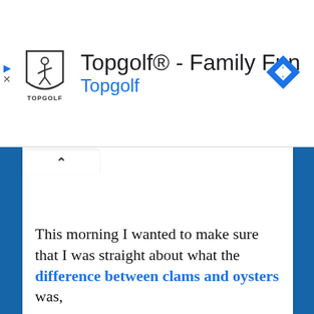[Figure (screenshot): Topgolf advertisement banner with logo, title 'Topgolf® - Family Fun', subtitle 'Topgolf', a blue diamond navigation arrow icon, play and close icons on the left side]
This morning I wanted to make sure that I was straight about what the difference between clams and oysters was,